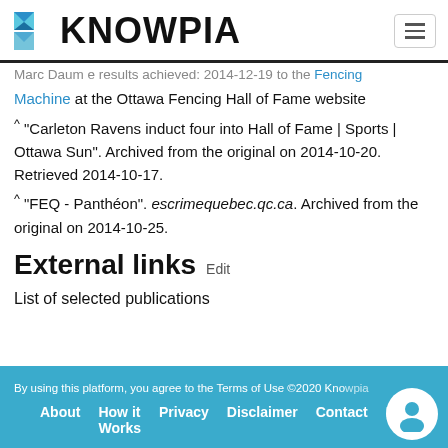KNOWPIA
Machine at the Ottawa Fencing Hall of Fame website
^ "Carleton Ravens induct four into Hall of Fame | Sports | Ottawa Sun". Archived from the original on 2014-10-20. Retrieved 2014-10-17.
^ "FEQ - Panthéon". escrimequebec.qc.ca. Archived from the original on 2014-10-25.
External links Edit
List of selected publications
By using this platform, you agree to the Terms of Use ©2020 Knowpia   About   How it Works   Privacy   Disclaimer   Contact   FAQ